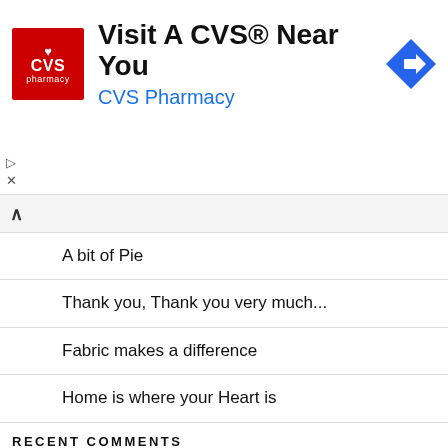[Figure (logo): CVS Pharmacy advertisement banner with red CVS logo, text 'Visit A CVS® Near You', 'CVS Pharmacy' in blue, and blue navigation diamond icon on the right]
A bit of Pie
Thank you, Thank you very much...
Fabric makes a difference
Home is where your Heart is
Musings on change, and a format of sorts
Procrastination is not a word I use much
Frankly my dear....
RECENT COMMENTS